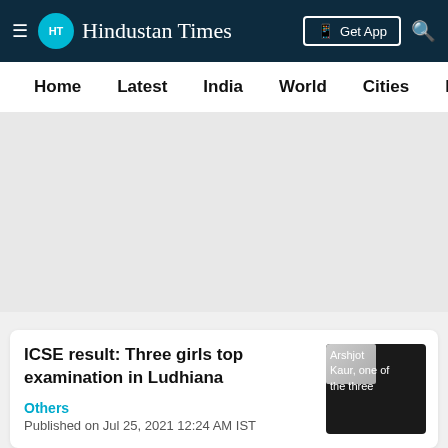Hindustan Times
Home  Latest  India  World  Cities  Entertainment
[Figure (other): Gray advertisement placeholder area]
ICSE result: Three girls top examination in Ludhiana
[Figure (photo): Arshjot Kaur, one of the three]
Others
Published on Jul 25, 2021 12:24 AM IST